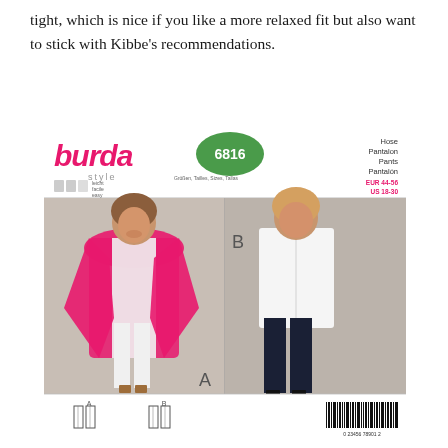tight, which is nice if you like a more relaxed fit but also want to stick with Kibbe's recommendations.
[Figure (photo): Burda Style sewing pattern #6816 envelope showing two women modeling pants. Left model wears a hot pink open cardigan with white top and white skinny pants with brown heeled sandals (View A). Right model wears a white button-up shirt with dark navy cropped pants and black heeled sandals (View B). Top of envelope shows the Burda Style logo in pink italic, pattern number 6816 in a green oval badge, and text reading 'Hose Pantalon Pants Pantalón' on the right. Size range EUR 44-56 / US 18-30 shown in pink. Bottom shows flat schematic drawings of the pants for views A and B, plus a barcode.]